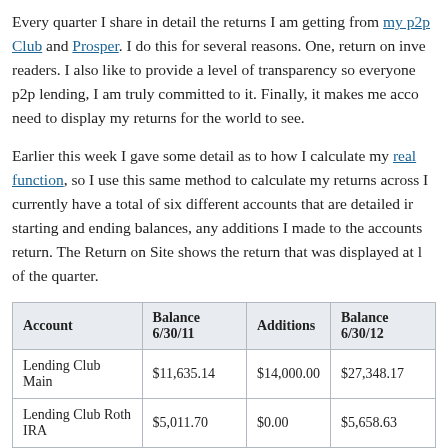Every quarter I share in detail the returns I am getting from my p2p lending Club and Prosper. I do this for several reasons. One, return on investment matters to readers. I also like to provide a level of transparency so everyone can see that in p2p lending, I am truly committed to it. Finally, it makes me accountable since I need to display my returns for the world to see.
Earlier this week I gave some detail as to how I calculate my real returns using XIRR function, so I use this same method to calculate my returns across all accounts. I currently have a total of six different accounts that are detailed in the table below: starting and ending balances, any additions I made to the accounts, and my actual return. The Return on Site shows the return that was displayed at Lending Club at the end of the quarter.
| Account | Balance 6/30/11 | Additions | Balance 6/30/12 |
| --- | --- | --- | --- |
| Lending Club Main | $11,635.14 | $14,000.00 | $27,348.17 |
| Lending Club Roth IRA | $5,011.70 | $0.00 | $5,658.63 |